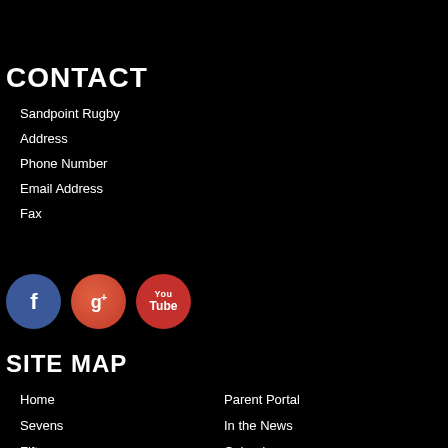CONTACT
Sandpoint Rugby
Address
Phone Number
Email Address
Fax
[Figure (illustration): Three social media icons: Facebook (blue circle with f), Google+ (red-orange circle with g+), YouTube (red circle with YouTube play button logo)]
SITE MAP
Home
Parent Portal
Sevens
In the News
Fifteens
Calendar